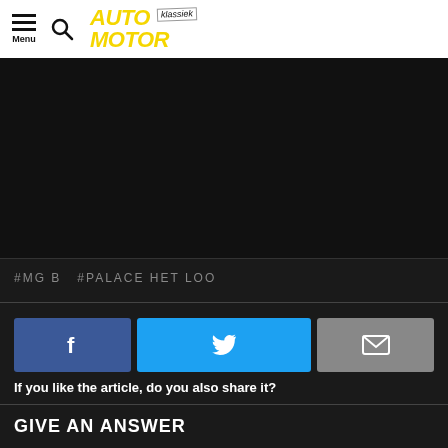AUTO MOTOR klassiek
[Figure (photo): Dark/black image area, likely a car photo]
#MG B  #PALACE HET LOO
[Figure (infographic): Social share buttons: Facebook, Twitter, Email]
If you like the article, do you also share it?
GIVE AN ANSWER